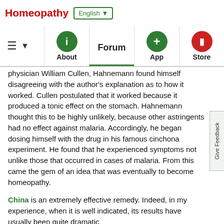Homeopathy  English ▼
≡ ▼  About  Forum  App  Store
physician William Cullen, Hahnemann found himself disagreeing with the author's explanation as to how it worked. Cullen postulated that it worked because it produced a tonic effect on the stomach. Hahnemann thought this to be highly unlikely, because other astringents had no effect against malaria. Accordingly, he began dosing himself with the drug in his famous cinchona experiment. He found that he experienced symptoms not unlike those that occurred in cases of malaria. From this came the gem of an idea that was eventually to become homeopathy.
China is an extremely effective remedy. Indeed, in my experience, when it is well indicated, its results have usually been quite dramatic.
Vithoulkas thought towards cinchona officinalis It has been determined that a solution of Quinine of one part to ten thousand acts destructively on infusoria. Thus it will destroy the poisons that propagate many of the contagious" diseases, as puerperal fever, scarlatina, etc.